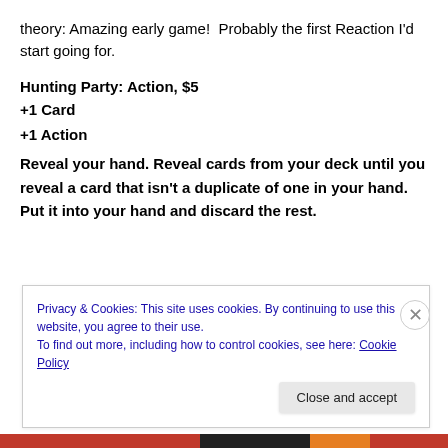theory: Amazing early game!  Probably the first Reaction I'd start going for.
Hunting Party: Action, $5
+1 Card
+1 Action
Reveal your hand. Reveal cards from your deck until you reveal a card that isn't a duplicate of one in your hand. Put it into your hand and discard the rest.
Privacy & Cookies: This site uses cookies. By continuing to use this website, you agree to their use.
To find out more, including how to control cookies, see here: Cookie Policy
Close and accept